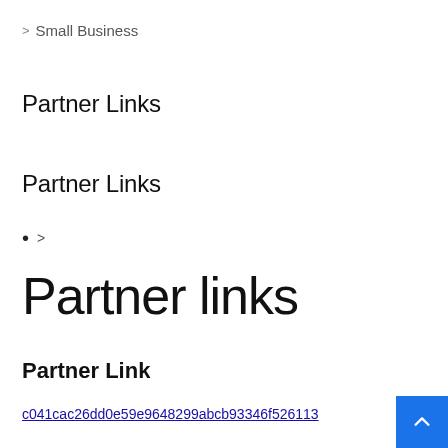> Small Business
Partner Links
Partner Links
• >
Partner links
Partner Link
c041cac26dd0e59e9648299abcb93346f526113
^ back to top